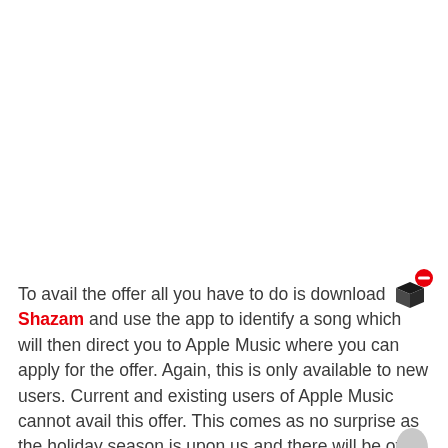To avail the offer all you have to do is download Shazam and use the app to identify a song which will then direct you to Apple Music where you can apply for the offer. Again, this is only available to new users. Current and existing users of Apple Music cannot avail this offer. This comes as no surprise as the holiday season is upon us and there will be other offers coming up as well.